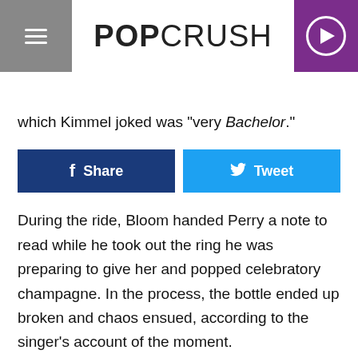POPCRUSH
LISTEN NOW ▶  POPCRUSH NIGHTS WITH LAURYN SNAPP
which Kimmel joked was "very Bachelor."
[Figure (infographic): Facebook Share button and Twitter Tweet button side by side]
During the ride, Bloom handed Perry a note to read while he took out the ring he was preparing to give her and popped celebratory champagne. In the process, the bottle ended up broken and chaos ensued, according to the singer's account of the moment.
"The champagne is, like, broken. The bottle is everywhere, and I'm still looking at the note," she remembered. "He's pulling out this box that's too big for his coat pocket. It rip